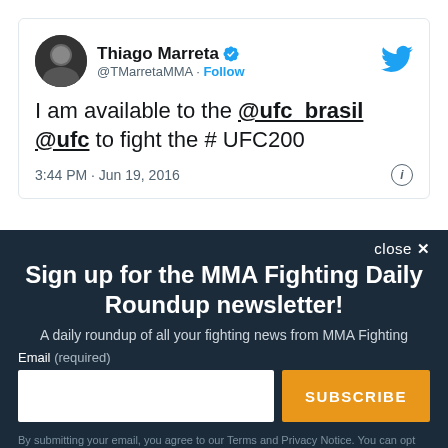[Figure (screenshot): Tweet from Thiago Marreta (@TMarretaMMA) with blue verified checkmark and Twitter bird logo. Tweet text: 'I am available to the @ufc_brasil @ufc to fight the # UFC200'. Timestamp: 3:44 PM · Jun 19, 2016.]
close ✕
Sign up for the MMA Fighting Daily Roundup newsletter!
A daily roundup of all your fighting news from MMA Fighting
Email (required)
SUBSCRIBE
By submitting your email, you agree to our Terms and Privacy Notice. You can opt out at any time. This site is protected by reCAPTCHA and the Google Privacy Policy and Terms of Service apply.